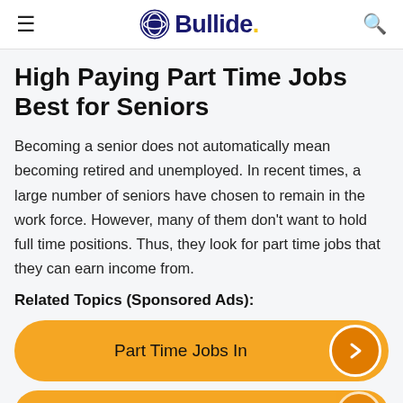Bullide.
High Paying Part Time Jobs Best for Seniors
Becoming a senior does not automatically mean becoming retired and unemployed. In recent times, a large number of seniors have chosen to remain in the work force. However, many of them don't want to hold full time positions. Thus, they look for part time jobs that they can earn income from.
Related Topics (Sponsored Ads):
[Figure (other): Orange rounded button with text 'Part Time Jobs In' and an orange arrow circle on the right]
[Figure (other): Orange rounded button partially visible at bottom of page]